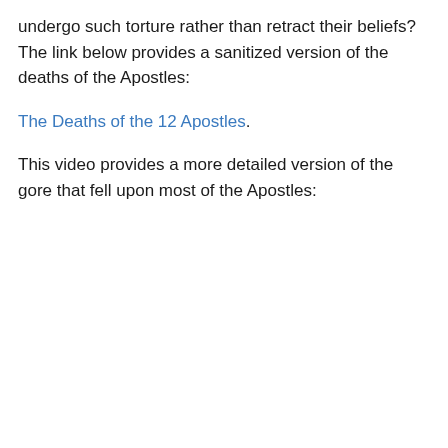undergo such torture rather than retract their beliefs? The link below provides a sanitized version of the deaths of the Apostles:
The Deaths of the 12 Apostles.
This video provides a more detailed version of the gore that fell upon most of the Apostles: